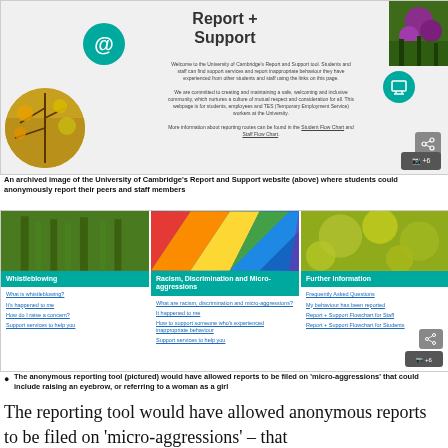[Figure (screenshot): Screenshot of University of Cambridge Report + Support website with @ icon, flower photo, autumn circle photo, teal icon, share button, and +6 photo button. Text reads: 'Report + Support. Welcome to the University of Cambridge's Report and Support tool. Students and staff can find support services and report inappropriate behaviour they have experienced from other students and staff using the links on this page. We are committed to creating and maintaining a safe, welcoming and inclusive community, which nurtures a culture of mutual respect and consideration for all. This webpage is for students, employees and TES (Temporary Employment Service) workers at the University. More information about reporting routes can be found in the Student Flow Chart and Staff Flow Chart.']
An archived image of the University of Cambridge's Report and Support website (above) where students could anonymously report their peers and staff members
[Figure (screenshot): Screenshot showing three category panels: Whistleblowing (green plant image), Racism, Discrimination and Micro-aggressions (rainbow colors image), Further Information (yellow foliage image). Each panel has links below. Whistleblowing links: What is whistleblowing?, It's happened to me, How do I raise a concern?, Support services to help you. Racism panel links: What are racism, discrimination and micro-aggressions?, It happened to me, How to support someone who's experienced inappropriate behaviour, Support services to help you. Further Information links: Frequently Asked Questions, My behaviour has been reported, Report + Support Flowchart for Staff, Report + Support Flowchart for Students.]
The anonymous reporting tool (pictured) would have allowed reports to be filed on 'micro-aggressions' that could include raising an eyebrow, or referring to a woman as a girl
The reporting tool would have allowed anonymous reports to be filed on 'micro-aggressions' – that